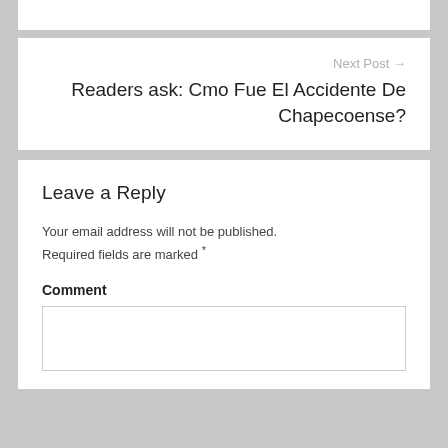Next Post →
Readers ask: Cmo Fue El Accidente De Chapecoense?
Leave a Reply
Your email address will not be published. Required fields are marked *
Comment